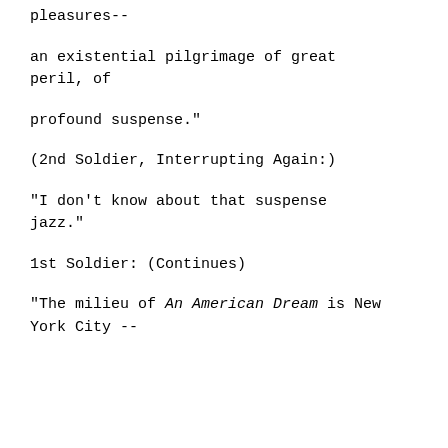pleasures--
an existential pilgrimage of great peril, of
profound suspense."
(2nd Soldier, Interrupting Again:)
"I don't know about that suspense jazz."
1st Soldier: (Continues)
"The milieu of An American Dream is New York City --